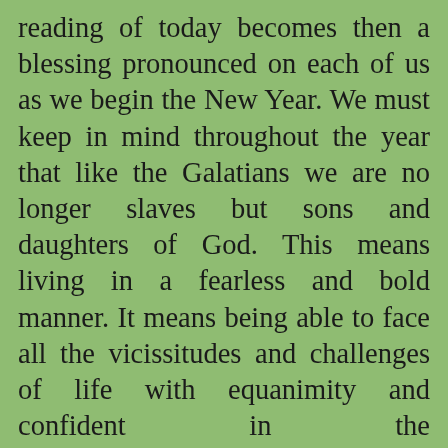reading of today becomes then a blessing pronounced on each of us as we begin the New Year. We must keep in mind throughout the year that like the Galatians we are no longer slaves but sons and daughters of God. This means living in a fearless and bold manner. It means being able to face all the vicissitudes and challenges of life with equanimity and confident in the knowledge that we are loved unconditionally by God and that God will be with us every step of the way in